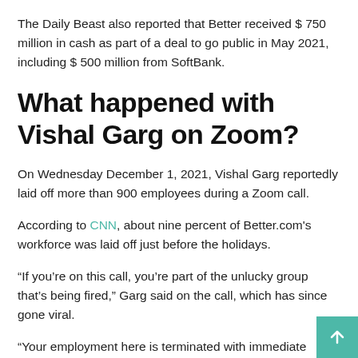The Daily Beast also reported that Better received $ 750 million in cash as part of a deal to go public in May 2021, including $ 500 million from SoftBank.
What happened with Vishal Garg on Zoom?
On Wednesday December 1, 2021, Vishal Garg reportedly laid off more than 900 employees during a Zoom call.
According to CNN, about nine percent of Better.com's workforce was laid off just before the holidays.
“If you’re on this call, you’re part of the unlucky group that’s being fired,” Garg said on the call, which has since gone viral.
“Your employment here is terminated with immediate effect.”
The Diversity, Equity and Inclusion recruiting team were said to